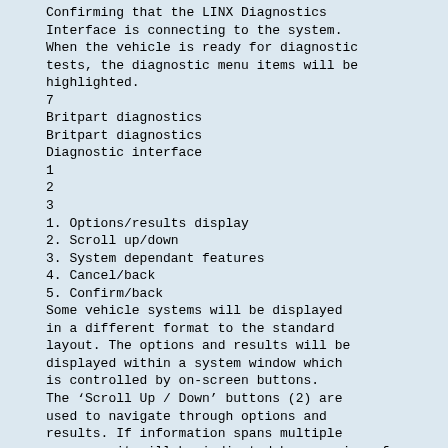Confirming that the LINX Diagnostics Interface is connecting to the system. When the vehicle is ready for diagnostic tests, the diagnostic menu items will be highlighted.
7
Britpart diagnostics
Britpart diagnostics
Diagnostic interface
1
2
3
1. Options/results display
2. Scroll up/down
3. System dependant features
4. Cancel/back
5. Confirm/back
Some vehicle systems will be displayed in a different format to the standard layout. The options and results will be displayed within a system window which is controlled by on-screen buttons.
The ‘Scroll Up / Down’ buttons (2) are used to navigate through options and results. If information spans multiple screens, it will be indicated by a series of dots.
The ‘Cancel / Back’ button (3) returns to the previous screen.
8
4
5
The ‘Confirm / Next’ button (5) will